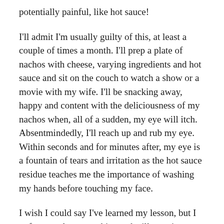potentially painful, like hot sauce!
I'll admit I'm usually guilty of this, at least a couple of times a month. I'll prep a plate of nachos with cheese, varying ingredients and hot sauce and sit on the couch to watch a show or a movie with my wife. I'll be snacking away, happy and content with the deliciousness of my nachos when, all of a sudden, my eye will itch. Absentmindedly, I'll reach up and rub my eye. Within seconds and for minutes after, my eye is a fountain of tears and irritation as the hot sauce residue teaches me the importance of washing my hands before touching my face.
I wish I could say I've learned my lesson, but I unfortunately repeat this vaudeville routine on a regular basis. One of the main ingredients in most hot sauces is capsaicin, related to capsicum, which is the primary debilitating ingredient in pepper spray.